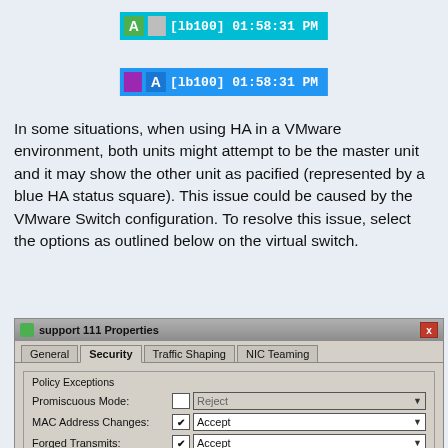[Figure (screenshot): Status bar showing green A letter icon, gray square, and [lb100] 01:58:31 PM text on cyan background]
[Figure (screenshot): Status bar showing purple square, blue A letter icon, and [lb100] 01:58:31 PM text on blue background]
In some situations, when using HA in a VMware environment, both units might attempt to be the master unit and it may show the other unit as pacified (represented by a blue HA status square). This issue could be caused by the VMware Switch configuration. To resolve this issue, select the options as outlined below on the virtual switch.
[Figure (screenshot): VMware support 111 Properties dialog showing Security tab with Policy Exceptions: Promiscuous Mode set to Reject (unchecked), MAC Address Changes set to Accept (checked), Forged Transmits set to Accept (checked)]